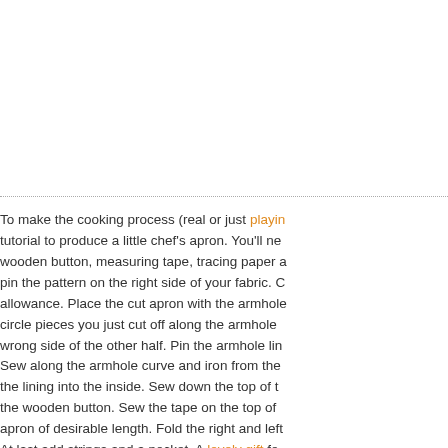To make the cooking process (real or just playing tutorial to produce a little chef's apron. You'll ne wooden button, measuring tape, tracing paper a pin the pattern on the right side of your fabric. C allowance. Place the cut apron with the armhole circle pieces you just cut off along the armhole wrong side of the other half. Pin the armhole lin Sew along the armhole curve and iron from the the lining into the inside. Sew down the top of t the wooden button. Sew the tape on the top of apron of desirable length. Fold the right and lef At last add strings and a pocket. A lovely gift fo